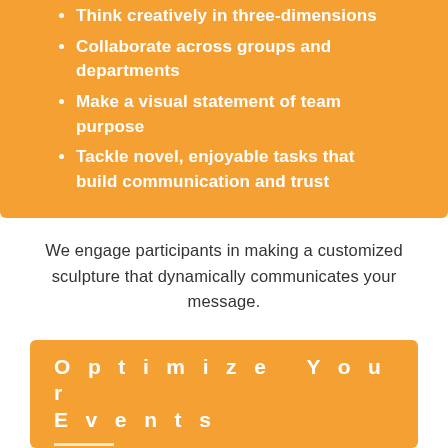Think creatively in three-dimensions
Collaborate across groups and departments
Make a visual statement of team purpose
Tackle novel, enjoyable tasks that build communication and trust
We engage participants in making a customized sculpture that dynamically communicates your message.
Optimize Your Events
Invite potential customers and colleagues into a fun, shared...